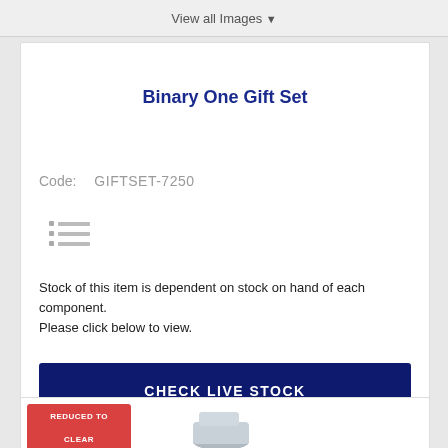View all Images ▾
Binary One Gift Set
Code:   GIFTSET-7250
[Figure (other): List/bullet icon placeholder with three small horizontal bar rows]
Stock of this item is dependent on stock on hand of each component.
Please click below to view.
CHECK LIVE STOCK
REDUCED TO
CLEAR